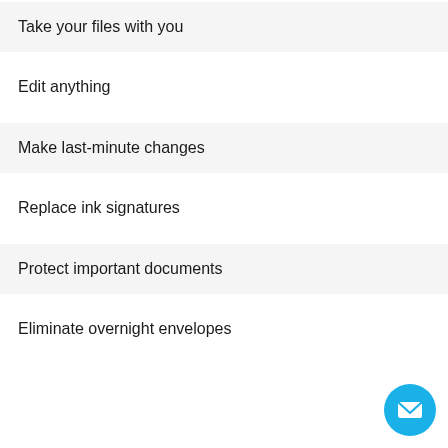Take your files with you
Edit anything
Make last-minute changes
Replace ink signatures
Protect important documents
Eliminate overnight envelopes
[Figure (illustration): Blue circular chat/mail button in bottom-right corner with envelope icon]